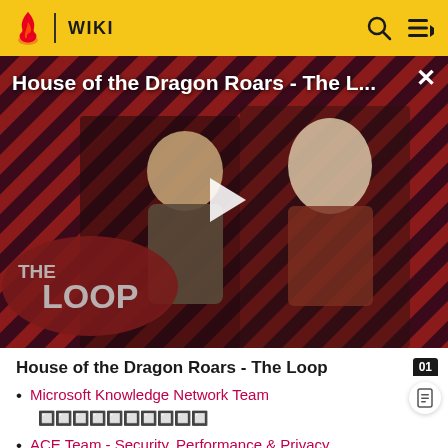WIKI
[Figure (screenshot): Video thumbnail for 'House of the Dragon Roars - The L...' showing two characters against a red diagonal striped background with 'THE LOOP' text, a play button in the center, and an X close button in the top right.]
House of the Dragon Roars - The Loop
Microsoft Knowledge Network Team 🔲🔲🔲🔲🔲🔲🔲🔲🔲🔲
ACE Team - Security, Performance & Privacy